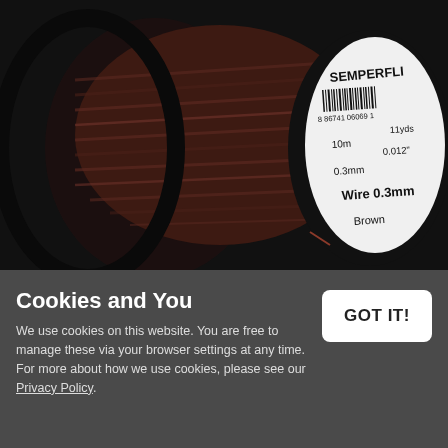[Figure (photo): A spool of Semperfli brown wire 0.3mm (0.012 inch), 10m / 11yds, with barcode 8 86741 06069 1, shown at an angle against a dark background.]
Cookies and You
We use cookies on this website. You are free to manage these via your browser settings at any time. For more about how we use cookies, please see our Privacy Policy.